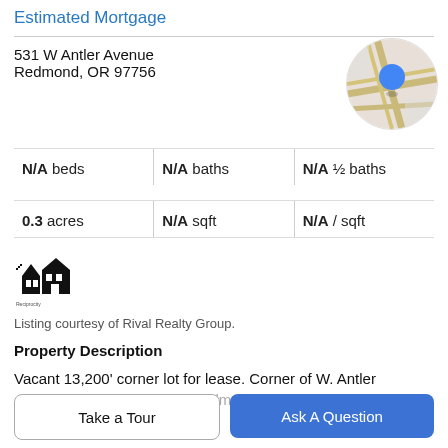Estimated Mortgage
531 W Antler Avenue
Redmond, OR 97756
[Figure (map): Circular map thumbnail showing location pin for 531 W Antler Avenue, Redmond OR 97756]
N/A beds | N/A baths | N/A ½ baths
0.3 acres | N/A sqft | N/A / sqft
[Figure (logo): Small house/building icon with text 'Reciprocity']
Listing courtesy of Rival Realty Group.
Property Description
Vacant 13,200' corner lot for lease. Corner of W. Antler Ave & 6th Stcn Downtown Redmond. Owner is open to
Take a Tour
Ask A Question